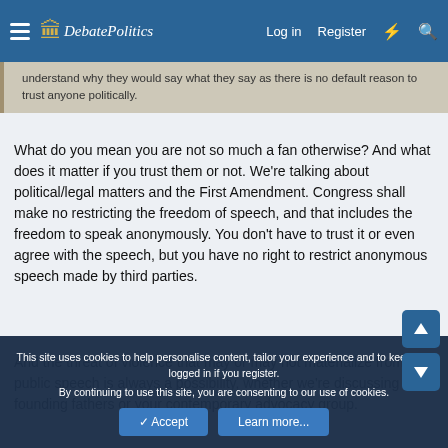DebatePolitics — Log in  Register
understand why they would say what they say as there is no default reason to trust anyone politically.
What do you mean you are not so much a fan otherwise? And what does it matter if you trust them or not. We're talking about political/legal matters and the First Amendment. Congress shall make no restricting the freedom of speech, and that includes the freedom to speak anonymously. You don't have to trust it or even agree with the speech, but you have no right to restrict anonymous speech made by third parties.
And the threat of violence that may or may not materialize from public speech is always a possibility, whether we're discussing the founding fathers or your contemporary advocacy group.
This site uses cookies to help personalise content, tailor your experience and to keep you logged in if you register.
By continuing to use this site, you are consenting to our use of cookies.